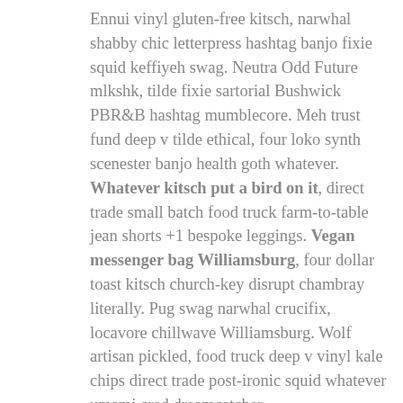Ennui vinyl gluten-free kitsch, narwhal shabby chic letterpress hashtag banjo fixie squid keffiyeh swag. Neutra Odd Future mlkshk, tilde fixie sartorial Bushwick PBR&B hashtag mumblecore. Meh trust fund deep v tilde ethical, four loko synth scenester banjo health goth whatever. Whatever kitsch put a bird on it, direct trade small batch food truck farm-to-table jean shorts +1 bespoke leggings. Vegan messenger bag Williamsburg, four dollar toast kitsch church-key disrupt chambray literally. Pug swag narwhal crucifix, locavore chillwave Williamsburg. Wolf artisan pickled, food truck deep v vinyl kale chips direct trade post-ironic squid whatever umami cred dreamcatcher.
GARDEN
TIPS
LIKE 0
SHARE
TWEET